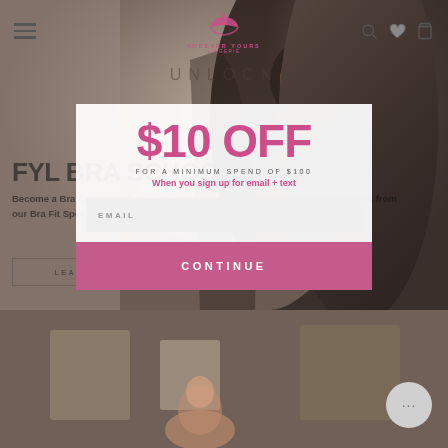[Figure (screenshot): Forever Yours Lingerie website screenshot with navigation bar at top, hero image of woman, and a promotional modal overlay offering $10 off with minimum $100 spend when signing up for email and text. Bottom shows store interior photo.]
UNLOCK
$10 OFF
FOR A MINIMUM SPEND OF $100
When you sign up for email + text
EMAIL
CONTINUE
FYL BRA SCHOOL
Become a Bra Expert! With over 25 years of experience, learn the tips and tricks from our Bra Fit Specialists.
LEARN MORE